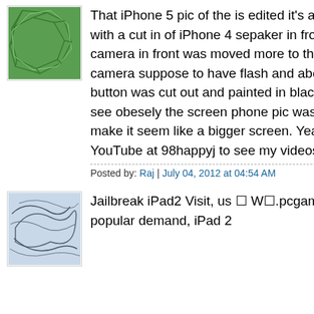[Figure (illustration): Green geometric avatar icon with polygon/stone pattern]
That iPhone 5 pic of the is edited it's an iPod touch with a cut in of iPhone 4 sepaker in front and the camera in front was moved more to the side and back camera suppose to have flash and about the home button was cut out and painted in black and you can see obesely the screen phone pic was stretched out to make it seem like a bigger screen. Yeah and watch my YouTube at 98happyj to see my videos .
Posted by: Raj | July 04, 2012 at 04:54 AM
[Figure (illustration): Light blue/white geometric avatar icon with curved lines pattern]
Jailbreak iPad2 Visit, us ☐ W☐.pcgameclone.C☐MBy popular demand, iPad 2